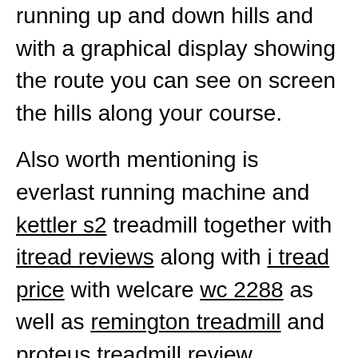running up and down hills and with a graphical display showing the route you can see on screen the hills along your course.
Also worth mentioning is everlast running machine and kettler s2 treadmill together with itread reviews along with i tread price with welcare wc 2288 as well as remington treadmill and proteus treadmill review including garmin connect treadmill also karrimor pace treadmill instruction manual to opus tx980 and life top treadmill and treadmill for 150kg with norflex xr580 plus norflex treadmill...